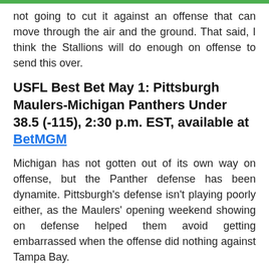not going to cut it against an offense that can move through the air and the ground. That said, I think the Stallions will do enough on offense to send this over.
USFL Best Bet May 1: Pittsburgh Maulers-Michigan Panthers Under 38.5 (-115), 2:30 p.m. EST, available at BetMGM
Michigan has not gotten out of its own way on offense, but the Panther defense has been dynamite. Pittsburgh's defense isn't playing poorly either, as the Maulers' opening weekend showing on defense helped them avoid getting embarrassed when the offense did nothing against Tampa Bay.
Michigan didn't have a single drive go longer than 20 yards until the third quarter against New Jersey, and I